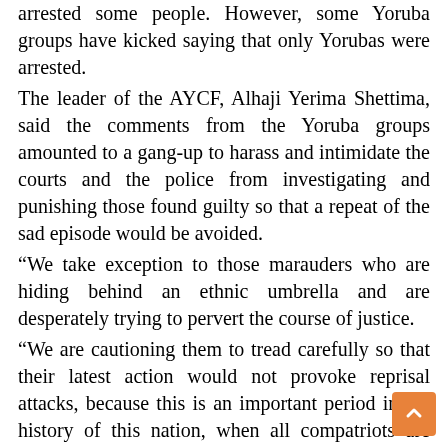arrested some people. However, some Yoruba groups have kicked saying that only Yorubas were arrested.
The leader of the AYCF, Alhaji Yerima Shettima, said the comments from the Yoruba groups amounted to a gang-up to harass and intimidate the courts and the police from investigating and punishing those found guilty so that a repeat of the sad episode would be avoided.
“We take exception to those marauders who are hiding behind an ethnic umbrella and are desperately trying to pervert the course of justice.
“We are cautioning them to tread carefully so that their latest action would not provoke reprisal attacks, because this is an important period in the history of this nation, when all compatriots are working hard to address the multiple challenges confronting the nation, economically, politically and socially,” AYCF said.